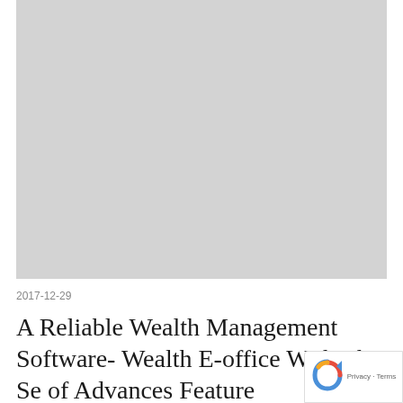[Figure (photo): A large gray placeholder image area at the top of the page, representing a featured article image.]
2017-12-29
A Reliable Wealth Management Software- Wealth E-office With The Se of Advances Feature